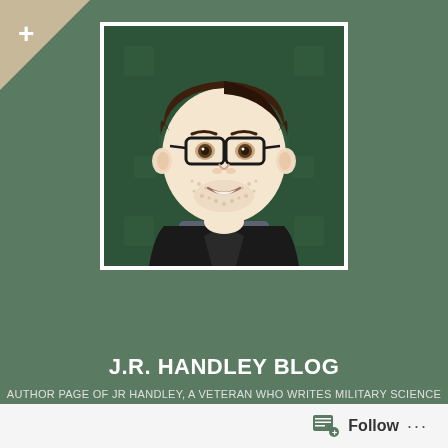[Figure (illustration): Cartoon/bitmoji avatar of a man with dark brown hair, glasses, stubble beard, wearing a black blazer over a gray shirt, on a dark green background with faint icon pattern]
J.R. HANDLEY BLOG
AUTHOR PAGE OF JR HANDLEY, A VETERAN WHO WRITES MILITARY SCIENCE
[Figure (logo): Follow button with RSS/blog icon and ellipsis (more options) dots]